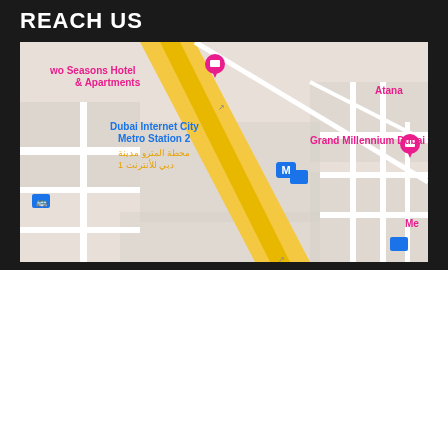REACH US
[Figure (map): Google Maps screenshot showing Dubai Internet City Metro Station 2, Two Seasons Hotel & Apartments, Grand Millennium Dubai, and Atana hotel locations with yellow highway roads and street layout]
We use cookies on our website to give you the most relevant experience by remembering your preferences and repeat visits. By clicking "Accept All", you consent to the use of ALL the cookies. However, you may visit "Cookie Settings" to provide a controlled consent.
Cookie Settings | Accept All